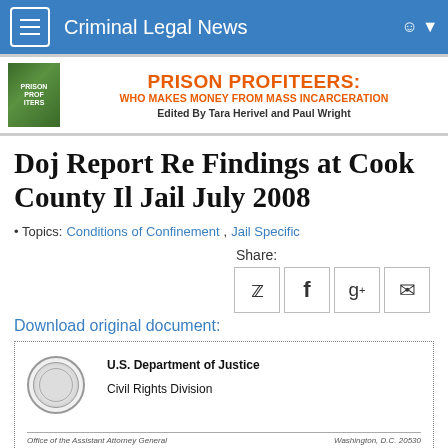Criminal Legal News
[Figure (illustration): Prison Profiteers book advertisement banner with book cover image, orange title text 'PRISON PROFITEERS: WHO MAKES MONEY FROM MASS INCARCERATION' and editor names 'Edited By Tara Herivel and Paul Wright']
Doj Report Re Findings at Cook County Il Jail July 2008
Topics: Conditions of Confinement, Jail Specific
Share:
Download original document:
[Figure (screenshot): Preview of U.S. Department of Justice Civil Rights Division document with DOJ seal, showing 'Office of the Assistant Attorney General' and 'Washington, D.C. 20530']